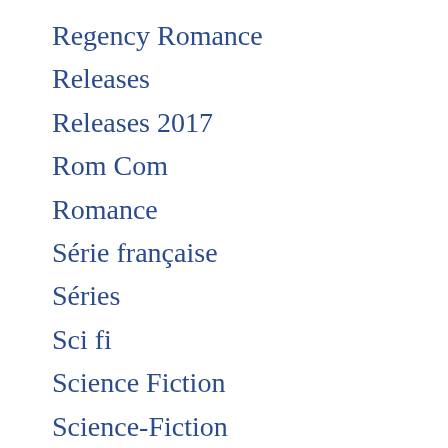Regency Romance
Releases
Releases 2017
Rom Com
Romance
Série française
Séries
Sci fi
Science Fiction
Science-Fiction
Season 2
Short film
Short Movie
Sitcom
Sorties d'été
Sports
Spying
Standup